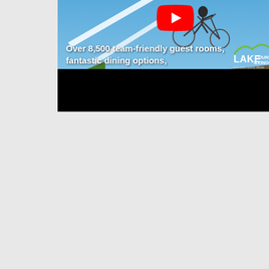[Figure (screenshot): YouTube video thumbnail showing a BMX/mountain bike rider airborne over a dirt track/pump track. Blue sky background, dirt mound terrain, grass on sides. YouTube play button (red with white triangle) visible at top center. Text overlay reads 'Over 8,500 team-friendly guest rooms, fantastic dining options,' in white bold text. Lake County Illinois logo visible in upper right. Lower portion of video is black (video controls area).]